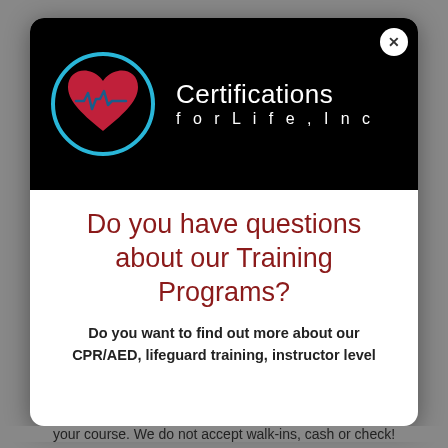[Figure (logo): Certifications for Life, Inc. logo: red heart with EKG line inside a blue circle on black background, with company name in white text]
Do you have questions about our Training Programs?
Do you want to find out more about our CPR/AED, lifeguard training, instructor level
your course. We do not accept walk-ins, cash or check!